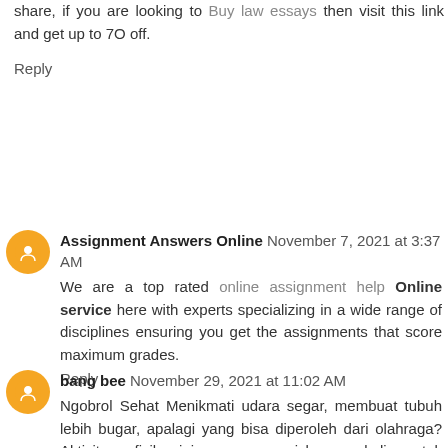share, if you are looking to Buy law essays then visit this link and get up to 7O off.
Reply
Assignment Answers Online November 7, 2021 at 3:37 AM
We are a top rated online assignment help Online service here with experts specializing in a wide range of disciplines ensuring you get the assignments that score maximum grades.
Reply
bang bee November 29, 2021 at 11:02 AM
Ngobrol Sehat Menikmati udara segar, membuat tubuh lebih bugar, apalagi yang bisa diperoleh dari olahraga? Aktivitas fisik ini memang riskan sekali untuk ditinggalkan. Tubuh perlu bergerak untuk memaksimalkan fungsinya dan olahraga adalah cara mudah yang bisa dilakukan. Baik untuk anak kecil, orang dewasa sampai lansia pun masih